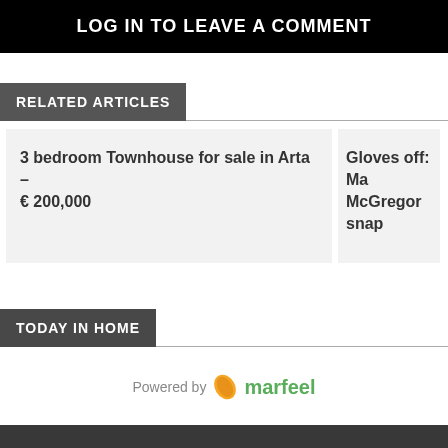LOG IN TO LEAVE A COMMENT
RELATED ARTICLES
3 bedroom Townhouse for sale in Arta – € 200,000
Gloves off: Ma McGregor snap
TODAY IN HOME
Powered by marfeel